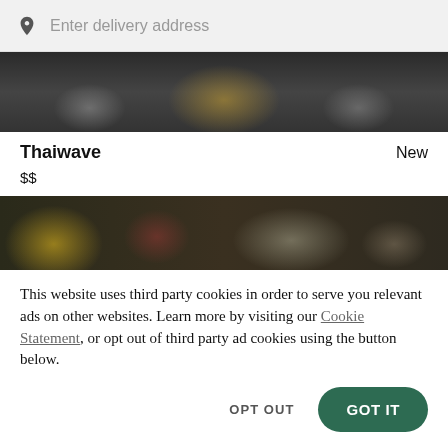Enter delivery address
[Figure (photo): Overhead photo of Thai food dishes on dark background]
Thaiwave    New
$$
[Figure (photo): Overhead photo of assorted Thai dishes with colorful toppings]
This website uses third party cookies in order to serve you relevant ads on other websites. Learn more by visiting our Cookie Statement, or opt out of third party ad cookies using the button below.
OPT OUT    GOT IT